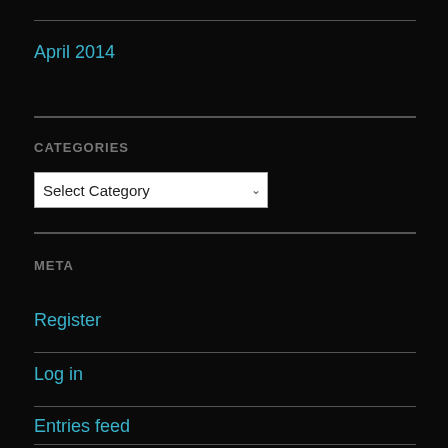April 2014
CATEGORIES
[Figure (screenshot): A dropdown select box labeled 'Select Category' with a chevron arrow on a white background]
META
Register
Log in
Entries feed